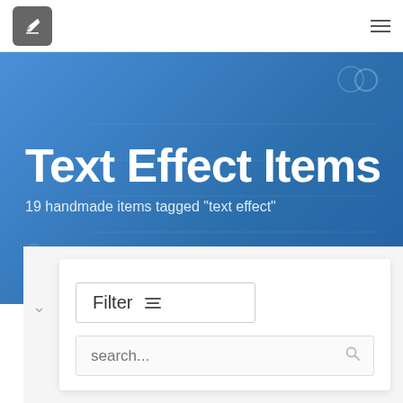[Figure (logo): Gray rounded square logo with a white pencil/edit icon inside]
Text Effect Items
19 handmade items tagged "text effect"
Filter
search...